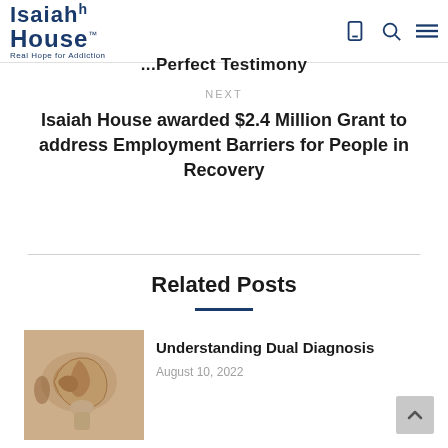Isaiah House — Real Hope for Addiction
...Perfect Testimony
NEXT
Isaiah House awarded $2.4 Million Grant to address Employment Barriers for People in Recovery
Related Posts
Understanding Dual Diagnosis
August 10, 2022
[Figure (photo): A anatomical brain model photograph used as thumbnail for 'Understanding Dual Diagnosis' article]